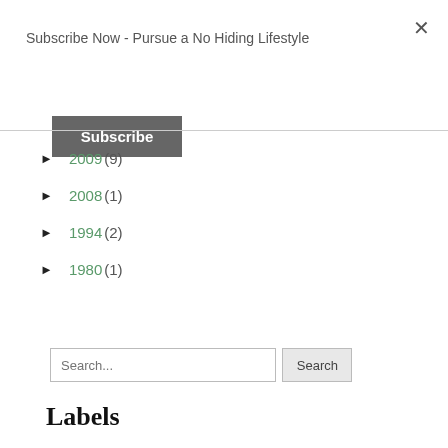Subscribe Now - Pursue a No Hiding Lifestyle
Subscribe
► 2009 (9)
► 2008 (1)
► 1994 (2)
► 1980 (1)
Search...
Labels